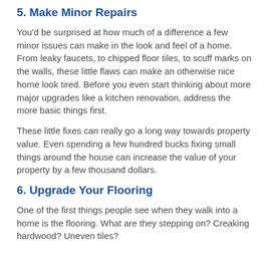5. Make Minor Repairs
You'd be surprised at how much of a difference a few minor issues can make in the look and feel of a home. From leaky faucets, to chipped floor tiles, to scuff marks on the walls, these little flaws can make an otherwise nice home look tired. Before you even start thinking about more major upgrades like a kitchen renovation, address the more basic things first.
These little fixes can really go a long way towards property value. Even spending a few hundred bucks fixing small things around the house can increase the value of your property by a few thousand dollars.
6. Upgrade Your Flooring
One of the first things people see when they walk into a home is the flooring. What are they stepping on? Creaking hardwood? Uneven tiles?